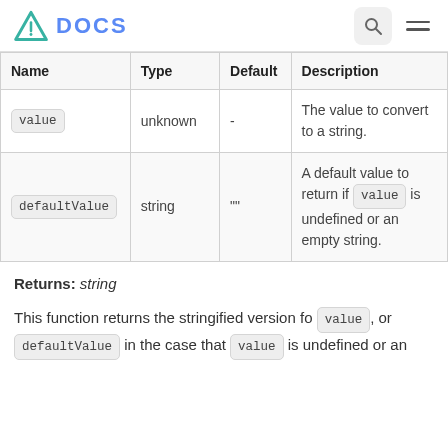DOCS
| Name | Type | Default | Description |
| --- | --- | --- | --- |
| value | unknown | - | The value to convert to a string. |
| defaultValue | string | "" | A default value to return if value is undefined or an empty string. |
Returns: string
This function returns the stringified version fo value, or defaultValue in the case that value is undefined or an